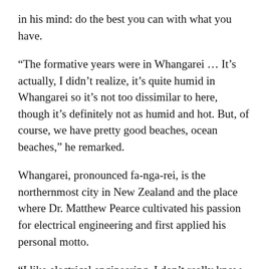in his mind: do the best you can with what you have.
“The formative years were in Whangarei … It’s actually, I didn’t realize, it’s quite humid in Whangarei so it’s not too dissimilar to here, though it’s definitely not as humid and hot. But, of course, we have pretty good beaches, ocean beaches,” he remarked.
Whangarei, pronounced fa-nga-rei, is the northernmost city in New Zealand and the place where Dr. Matthew Pearce cultivated his passion for electrical engineering and first applied his personal motto.
“I like electrical engineering. I don’t really know why, I guess cause dad was interested in it, so we had a bunch of just some miscellaneous electronic junk at home,” Pearce said. “I’d sort of sit and mess about with it and wondered how it worked, so I went and got some degrees and I still